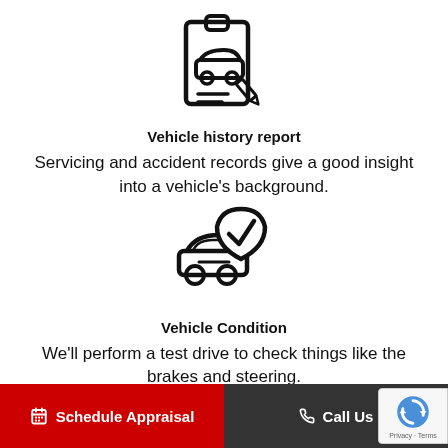[Figure (illustration): Clipboard with car and pencil icon — vehicle history report icon]
Vehicle history report
Servicing and accident records give a good insight into a vehicle's background.
[Figure (illustration): Car with shield and checkmark icon — vehicle condition icon]
Vehicle Condition
We'll perform a test drive to check things like the brakes and steering.
Schedule Appraisal   Call Us